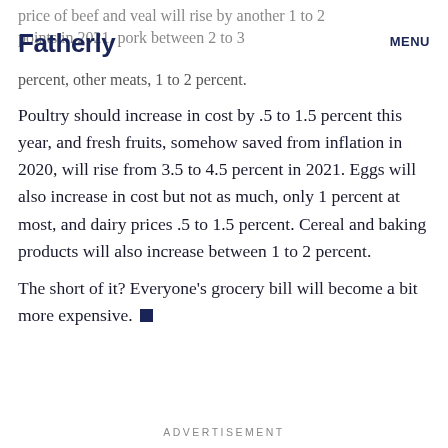Fatherly | MENU
price of beef and veal will rise by another 1 to 2 points in 2021, pork between 2 to 3 percent, other meats, 1 to 2 percent.
Poultry should increase in cost by .5 to 1.5 percent this year, and fresh fruits, somehow saved from inflation in 2020, will rise from 3.5 to 4.5 percent in 2021. Eggs will also increase in cost but not as much, only 1 percent at most, and dairy prices .5 to 1.5 percent. Cereal and baking products will also increase between 1 to 2 percent.
The short of it? Everyone's grocery bill will become a bit more expensive.
ADVERTISEMENT